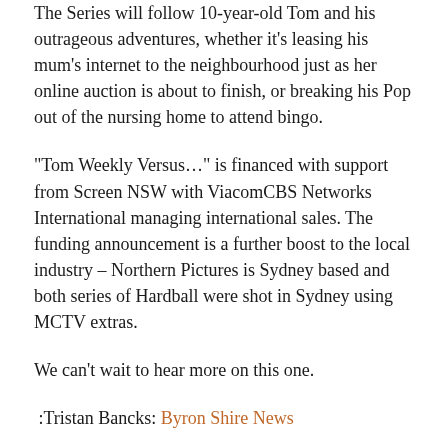The Series will follow 10-year-old Tom and his outrageous adventures, whether it's leasing his mum's internet to the neighbourhood just as her online auction is about to finish, or breaking his Pop out of the nursing home to attend bingo.
“Tom Weekly Versus…” is financed with support from Screen NSW with ViacomCBS Networks International managing international sales. The funding announcement is a further boost to the local industry – Northern Pictures is Sydney based and both series of Hardball were shot in Sydney using MCTV extras.
We can’t wait to hear more on this one.
:Tristan Bancks: Byron Shire News